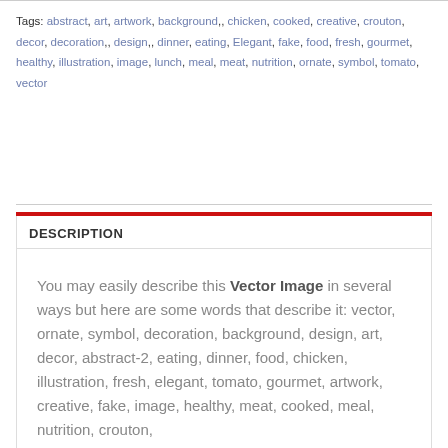Tags: abstract, art, artwork, background,, chicken, cooked, creative, crouton, decor, decoration,, design,, dinner, eating, Elegant, fake, food, fresh, gourmet, healthy, illustration, image, lunch, meal, meat, nutrition, ornate, symbol, tomato, vector
DESCRIPTION
You may easily describe this Vector Image in several ways but here are some words that describe it: vector, ornate, symbol, decoration, background, design, art, decor, abstract-2, eating, dinner, food, chicken, illustration, fresh, elegant, tomato, gourmet, artwork, creative, fake, image, healthy, meat, cooked, meal, nutrition, crouton,